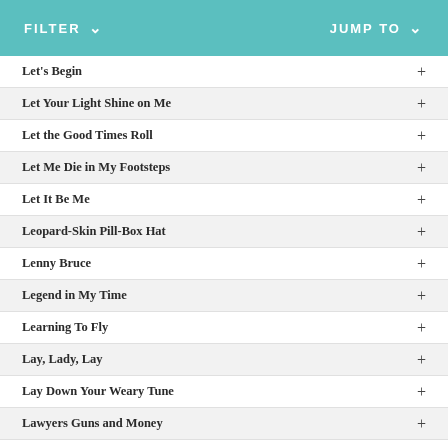FILTER  JUMP TO
Let's Begin
Let Your Light Shine on Me
Let the Good Times Roll
Let Me Die in My Footsteps
Let It Be Me
Leopard-Skin Pill-Box Hat
Lenny Bruce
Legend in My Time
Learning To Fly
Lay, Lady, Lay
Lay Down Your Weary Tune
Lawyers Guns and Money
Last Thoughts On Woody Guthrie